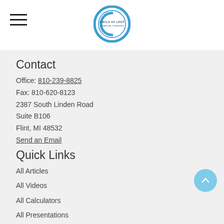[Figure (logo): Circle of Life Financial Planning logo — circular blue ring with text inside]
Contact
Office: 810-239-8825
Fax: 810-620-8123
2387 South Linden Road
Suite B106
Flint, MI 48532
Send an Email
Quick Links
All Articles
All Videos
All Calculators
All Presentations
Check the background of your financial professional on FINRA's BrokerCheck.